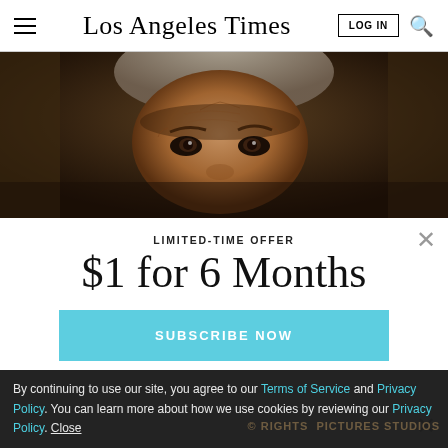Los Angeles Times
[Figure (photo): Close-up photo of an elderly man with gray hair and wrinkled face, dark moody lighting, partially visible from the forehead to just below the eyes.]
LIMITED-TIME OFFER
$1 for 6 Months
SUBSCRIBE NOW
By continuing to use our site, you agree to our Terms of Service and Privacy Policy. You can learn more about how we use cookies by reviewing our Privacy Policy. Close